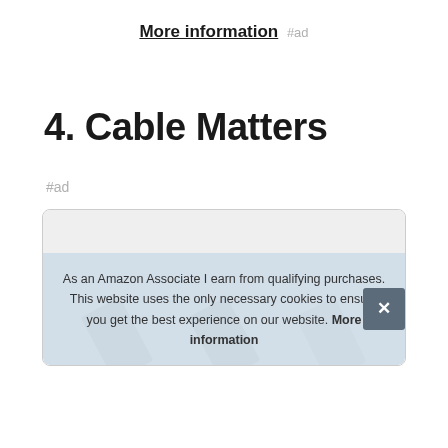More information #ad
4. Cable Matters
#ad
As an Amazon Associate I earn from qualifying purchases. This website uses the only necessary cookies to ensure you get the best experience on our website. More information